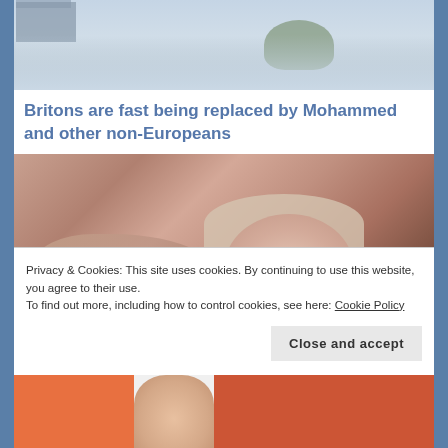[Figure (photo): Misty outdoor scene with building and tree visible through fog/haze]
Britons are fast being replaced by Mohammed and other non-Europeans
[Figure (photo): Close-up photo of a newborn baby being held, wearing a knit hat]
Privacy & Cookies: This site uses cookies. By continuing to use this website, you agree to their use.
To find out more, including how to control cookies, see here: Cookie Policy
Close and accept
[Figure (photo): Partial view of another image at the bottom of the page]